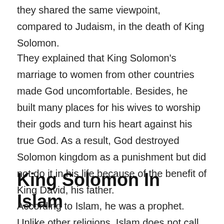they shared the same viewpoint, compared to Judaism, in the death of King Solomon.
They explained that King Solomon's marriage to women from other countries made God uncomfortable. Besides, he built many places for his wives to worship their gods and turn his heart against his true God. As a result, God destroyed Solomon kingdom as a punishment but did not do it in his life because of the benefit of King David, his father.
King Solomon In Islam
According to Islam, he was a prophet. Unlike other religions, Islam does not call the death of King